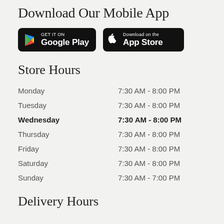Download Our Mobile App
[Figure (logo): Google Play store badge - black rounded rectangle with Google Play triangle icon and text 'GET IT ON Google Play']
[Figure (logo): Apple App Store badge - black rounded rectangle with Apple logo and text 'Download on the App Store']
Store Hours
| Day | Hours |
| --- | --- |
| Monday | 7:30 AM - 8:00 PM |
| Tuesday | 7:30 AM - 8:00 PM |
| Wednesday | 7:30 AM - 8:00 PM |
| Thursday | 7:30 AM - 8:00 PM |
| Friday | 7:30 AM - 8:00 PM |
| Saturday | 7:30 AM - 8:00 PM |
| Sunday | 7:30 AM - 7:00 PM |
Delivery Hours